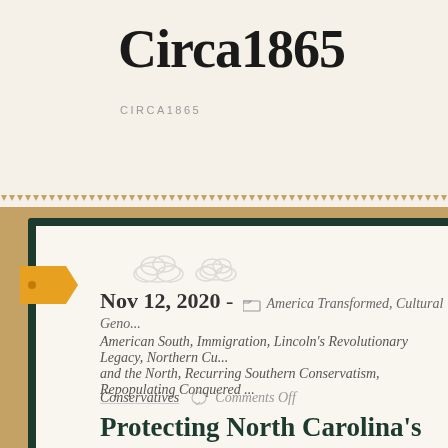Circa1865
CIRCA1865
Nov 12, 2020 - America Transformed, Cultural Geno..., American South, Immigration, Lincoln's Revolutionary Legacy, Northern Cu..., and the North, Recurring Southern Conservatism, Repopulating Conquered ...
Conservatives   Comments Off
Protecting North Carolina’s Unic... Culture
The author below wrote of the “the hypocrisy that Northerners long-ha... to the South” as they decried Southern race relations while themselves...